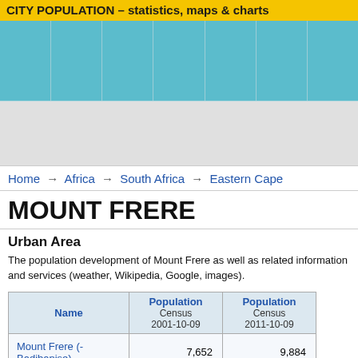CITY POPULATION – statistics, maps & charts
[Figure (other): Teal navigation bar with column dividers]
[Figure (other): Gray advertisement banner area]
Home → Africa → South Africa → Eastern Cape
MOUNT FRERE
Urban Area
The population development of Mount Frere as well as related information and services (weather, Wikipedia, Google, images).
| Name | Population Census 2001-10-09 | Population Census 2011-10-09 |
| --- | --- | --- |
| Mount Frere (-Badibanise) | 7,652 | 9,884 |
Source: Statistics South Africa (by adrianfrith.com).
Explanation: The tabulated population figures are derived from completely or